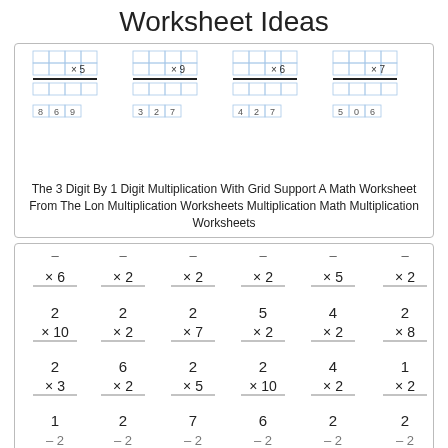Worksheet Ideas
[Figure (illustration): Grid multiplication worksheet showing 3-digit by 1-digit problems with grid support. Problems show multipliers ×5, ×9, ×6, ×7 with answer rows showing 8 6 9, 3 2 7, 4 2 7, 5 0 6]
The 3 Digit By 1 Digit Multiplication With Grid Support A Math Worksheet From The Lon Multiplication Worksheets Multiplication Math Multiplication Worksheets
[Figure (illustration): Simple multiplication worksheet. Row 1: ×6, ×2, ×2, ×2, ×5, ×2. Row 2: 2×10, 2×2, 2×7, 5×2, 4×2, 2×8. Row 3: 2×3, 6×2, 2×5, 2×10, 4×2, 1×2. Row 4: 1, 2, 7, 6, 2, 2 (with multipliers cut off at bottom)]
The Multiplying 1 To 10 By 2 36 Questions Per Page A Math